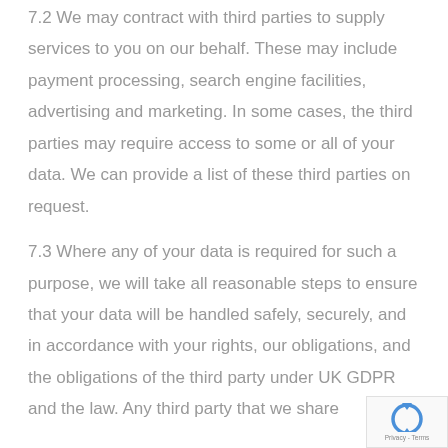7.2 We may contract with third parties to supply services to you on our behalf. These may include payment processing, search engine facilities, advertising and marketing. In some cases, the third parties may require access to some or all of your data.  We can provide a list of these third parties on request.
7.3 Where any of your data is required for such a purpose, we will take all reasonable steps to ensure that your data will be handled safely, securely, and in accordance with your rights, our obligations, and the obligations of the third party under UK GDPR and the law.  Any third party that we share